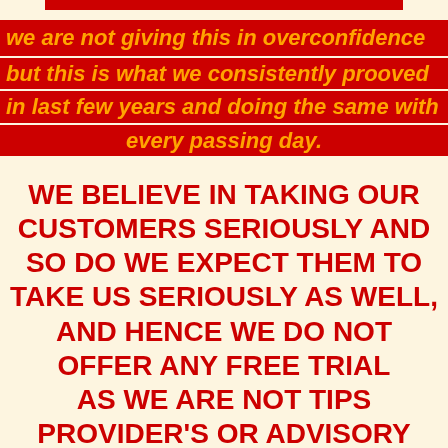we are not giving this in overconfidence but this is what we consistently prooved in last few years and doing the same with every passing day.
WE BELIEVE IN TAKING OUR CUSTOMERS SERIOUSLY AND SO DO WE EXPECT THEM TO TAKE US SERIOUSLY AS WELL, AND HENCE WE DO NOT OFFER ANY FREE TRIAL AS WE ARE NOT TIPS PROVIDER'S OR ADVISORY COMPANY BUT WE